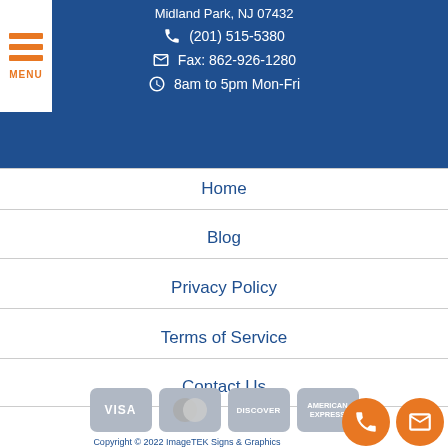Midland Park, NJ 07432 | (201) 515-5380 | Fax: 862-926-1280 | 8am to 5pm Mon-Fri
Home
Blog
Privacy Policy
Terms of Service
Contact Us
[Figure (logo): Payment method icons: VISA, Mastercard, Discover, American Express]
Copyright © 2022 ImageTEK Signs & Graphics
Lead Generation by MarkMyWordsMed...